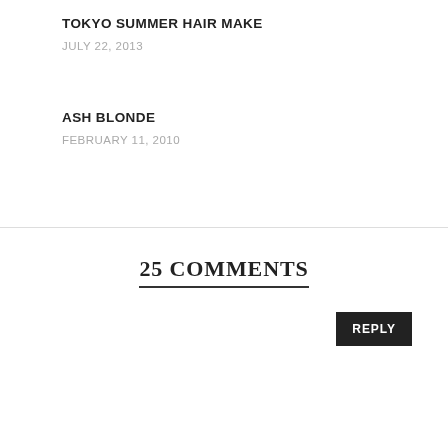TOKYO SUMMER HAIR MAKE
JULY 22, 2013
ASH BLONDE
FEBRUARY 11, 2010
25 COMMENTS
REPLY
MSBULAT
June 18, 2014 at 5:28 pm
This is getting freaky. Just when my dad came home yest asking if we should buy a water filter & here is your blogpost! The last time was the Bros tumblr ∑(ΩДΩ) & I like